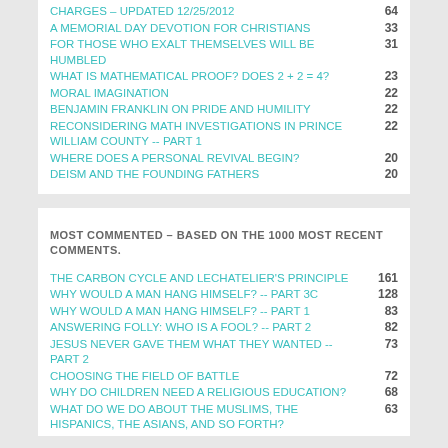CHARGES – UPDATED 12/25/2012 | 64
A Memorial Day Devotion for Christians | 33
FOR THOSE WHO EXALT THEMSELVES WILL BE HUMBLED | 31
WHAT IS MATHEMATICAL PROOF? DOES 2 + 2 = 4? | 23
MORAL IMAGINATION | 22
BENJAMIN FRANKLIN ON PRIDE AND HUMILITY | 22
RECONSIDERING MATH INVESTIGATIONS IN PRINCE WILLIAM COUNTY -- PART 1 | 22
WHERE DOES A PERSONAL REVIVAL BEGIN? | 20
DEISM AND THE FOUNDING FATHERS | 20
MOST COMMENTED – BASED ON THE 1000 MOST RECENT COMMENTS.
THE CARBON CYCLE AND LeChatelier's Principle | 161
WHY WOULD A MAN HANG HIMSELF? -- PART 3C | 128
WHY WOULD A MAN HANG HIMSELF? -- PART 1 | 83
ANSWERING FOLLY: WHO IS A FOOL? -- PART 2 | 82
JESUS NEVER GAVE THEM WHAT THEY WANTED -- PART 2 | 73
CHOOSING THE FIELD OF BATTLE | 72
WHY DO CHILDREN NEED A RELIGIOUS EDUCATION? | 68
WHAT DO WE DO ABOUT THE MUSLIMS, THE HISPANICS, THE ASIANS, AND SO FORTH? | 63